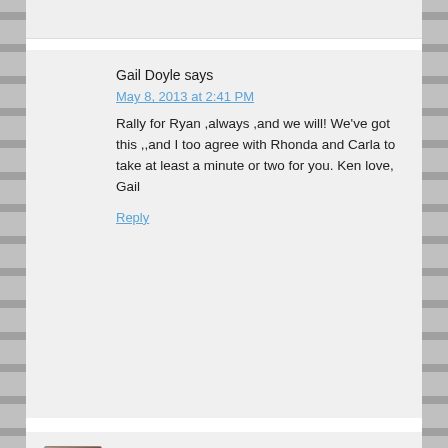Gail Doyle says
May 8, 2013 at 2:41 PM

Rally for Ryan ,always ,and we will! We've got this ,,and I too agree with Rhonda and Carla to take at least a minute or two for you. Ken love, Gail

Reply
Rita says
May 8, 2013 at 10:36 AM

Diviney Strong <3